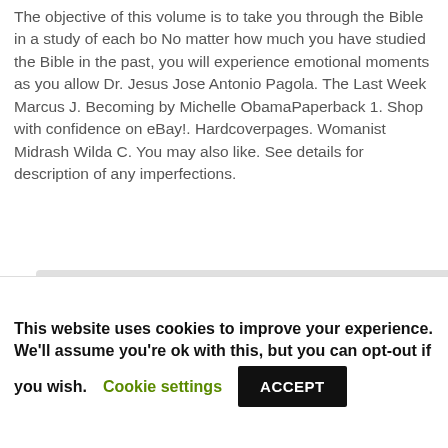The objective of this volume is to take you through the Bible in a study of each bo No matter how much you have studied the Bible in the past, you will experience emotional moments as you allow Dr. Jesus Jose Antonio Pagola. The Last Week Marcus J. Becoming by Michelle ObamaPaperback 1. Shop with confidence on eBay!. Hardcoverpages. Womanist Midrash Wilda C. You may also like. See details for description of any imperfections.
This website uses cookies to improve your experience. We'll assume you're ok with this, but you can opt-out if you wish. Cookie settings ACCEPT